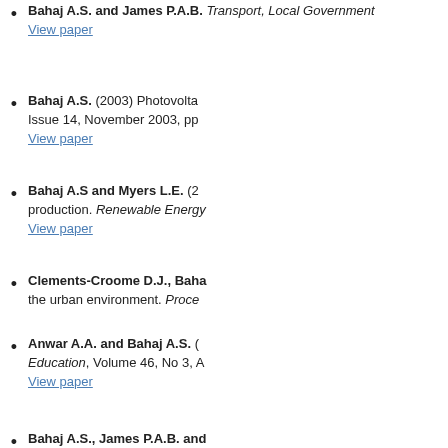Bahaj A.S. and James P.A.B. Transport, Local Government. View paper
Bahaj A.S. (2003) Photovolta... Issue 14, November 2003, pp ... View paper
Bahaj A.S and Myers L.E. (2... production. Renewable Energy. View paper
Clements-Croome D.J., Baha... the urban environment. Proce...
Anwar A.A. and Bahaj A.S. ( Education, Volume 46, No 3, A... View paper
Bahaj A.S., James P.A.B. and... World Conference on Photovo... View paper
Bahaj A.S., Braid R. and Jar... installation energy yield. Proc... Osaka, Japan, pp 2833-2836.
2003